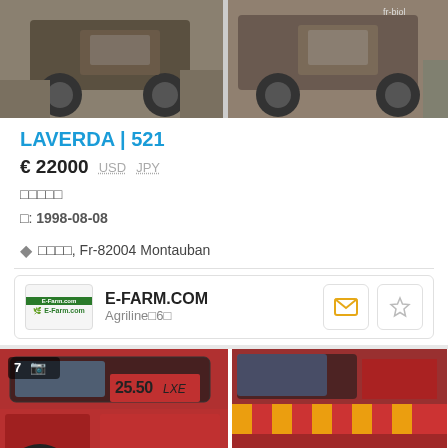[Figure (photo): Two tractor photos side by side at top of listing]
LAVERDA | 521
€ 22000  USD  JPY
□□□□□
□: 1998-08-08
◆ □□□□, Fr-82004 Montauban
E-FARM.COM
Agriline□6□
[Figure (photo): Two combine harvester photos (red, model 25.50 LXE) at bottom of listing]